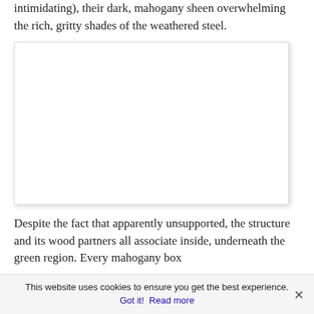intimidating), their dark, mahogany sheen overwhelming the rich, gritty shades of the weathered steel.
[Figure (other): White rectangular image area with shadow, representing an embedded image or figure on the page.]
Despite the fact that apparently unsupported, the structure and its wood partners all associate inside, underneath the green region. Every mahogany box
This website uses cookies to ensure you get the best experience.
Got it!  Read more